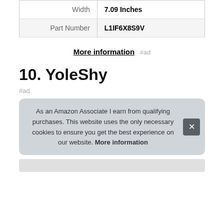| Width | 7.09 Inches |
| Part Number | L1IF6X8S9V |
More information #ad
10. YoleShy
#ad
As an Amazon Associate I earn from qualifying purchases. This website uses the only necessary cookies to ensure you get the best experience on our website. More information